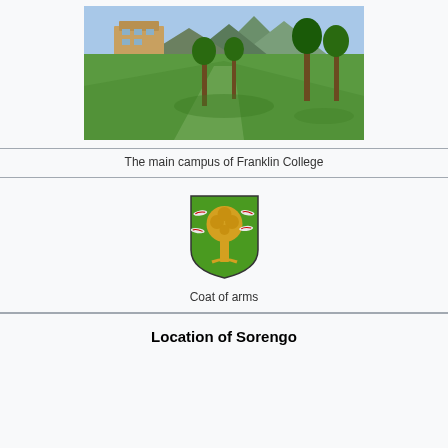[Figure (photo): Aerial/landscape photo of the main campus of Franklin College, showing green lawn, trees, and mountains in background]
The main campus of Franklin College
[Figure (illustration): Coat of arms of Sorengo: green shield with golden tree and small birds/doves on branches]
Coat of arms
Location of Sorengo